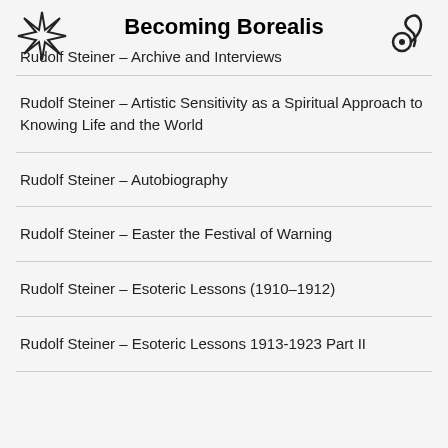Becoming Borealis
Rudolf Steiner – Archive and Interviews
Rudolf Steiner – Artistic Sensitivity as a Spiritual Approach to Knowing Life and the World
Rudolf Steiner – Autobiography
Rudolf Steiner – Easter the Festival of Warning
Rudolf Steiner – Esoteric Lessons (1910–1912)
Rudolf Steiner – Esoteric Lessons 1913-1923 Part II